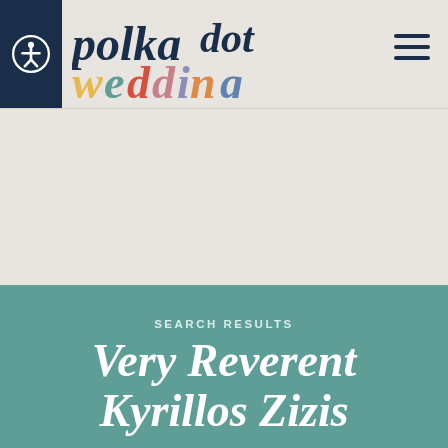polkadot wedding
SEARCH RESULTS
Very Reverent Kyrillos Zizis